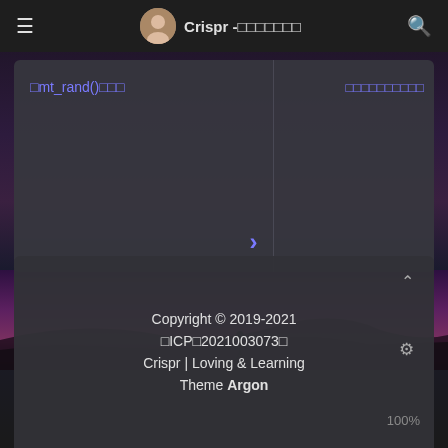≡  Crispr -□□□□□□□  🔍
[Figure (screenshot): Two-column card with links: left shows '□mt_rand()□□□', right shows '□□□□□□□□□□□', with a right-arrow chevron at bottom-right of left panel]
[Figure (photo): Dark landscape background with purple/magenta sky and silhouette of person]
Copyright © 2019-2021  □ICP□2021003073□  Crispr | Loving & Learning  Theme Argon  100%